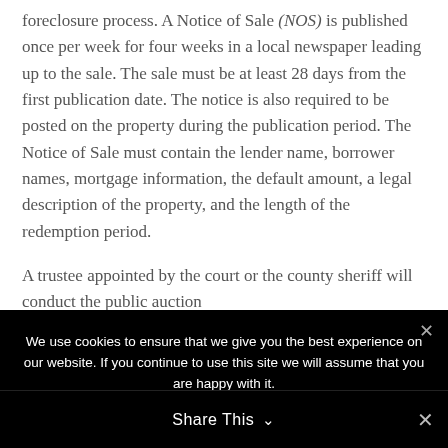foreclosure process. A Notice of Sale (NOS) is published once per week for four weeks in a local newspaper leading up to the sale. The sale must be at least 28 days from the first publication date. The notice is also required to be posted on the property during the publication period. The Notice of Sale must contain the lender name, borrower names, mortgage information, the default amount, a legal description of the property, and the length of the redemption period.
A trustee appointed by the court or the county sheriff will conduct the public auction
We use cookies to ensure that we give you the best experience on our website. If you continue to use this site we will assume that you are happy with it.